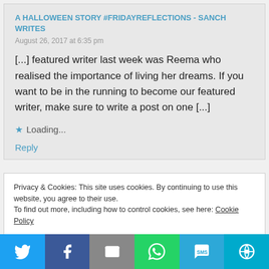A HALLOWEEN STORY #FRIDAYREFLECTIONS - SANCH WRITES
August 26, 2017 at 6:35 pm
[...] featured writer last week was Reema who realised the importance of living her dreams. If you want to be in the running to become our featured writer, make sure to write a post on one [...]
Loading...
Reply
Privacy & Cookies: This site uses cookies. By continuing to use this website, you agree to their use.
To find out more, including how to control cookies, see here: Cookie Policy